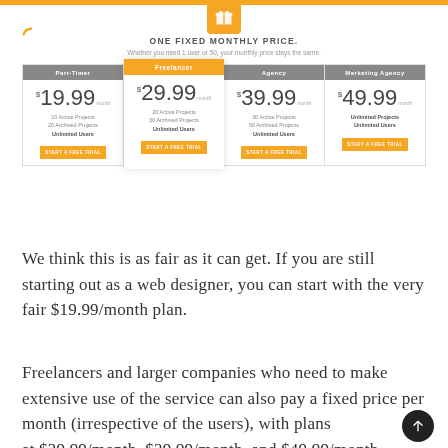ONE FIXED MONTHLY PRICE.
Whether you need 1 user or 50, your monthly price stays the same.
| Part-timer | Freelancer | Agency | Marketing Agency |
| --- | --- | --- | --- |
| $19.99/month | $29.99/month | $39.99/month | $49.99/month |
| 10 Active Projects
20 Archived Projects
Unlimited Users | 20 Active Projects
30 Archived Projects
Unlimited Users | 30 Active Projects
50 Archived Projects
Unlimited Users | Unlimited Projects
Unlimited Users |
| START A FREE TRIAL | START A FREE TRIAL | START A FREE TRIAL | START A FREE TRIAL |
We think this is as fair as it can get. If you are still starting out as a web designer, you can start with the very fair $19.99/month plan.
Freelancers and larger companies who need to make extensive use of the service can also pay a fixed price per month (irrespective of the users), with plans at $29.99/month, $39.99/month, and $49.99/month.